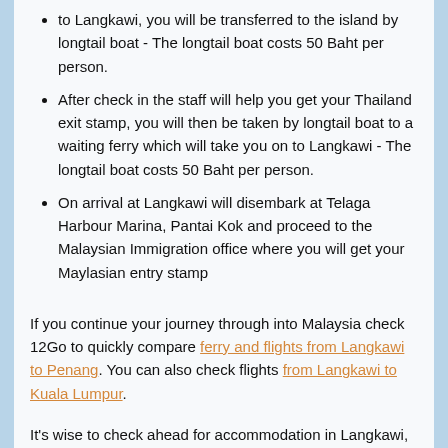to Langkawi, you will be transferred to the island by longtail boat - The longtail boat costs 50 Baht per person.
After check in the staff will help you get your Thailand exit stamp, you will then be taken by longtail boat to a waiting ferry which will take you on to Langkawi - The longtail boat costs 50 Baht per person.
On arrival at Langkawi will disembark at Telaga Harbour Marina, Pantai Kok and proceed to the Malaysian Immigration office where you will get your Maylasian entry stamp
If you continue your journey through into Malaysia check 12Go to quickly compare ferry and flights from Langkawi to Penang. You can also check flights from Langkawi to Kuala Lumpur.
It's wise to check ahead for accommodation in Langkawi, especially during high season (November to April). The best place accommodations often get booked out well ahead of